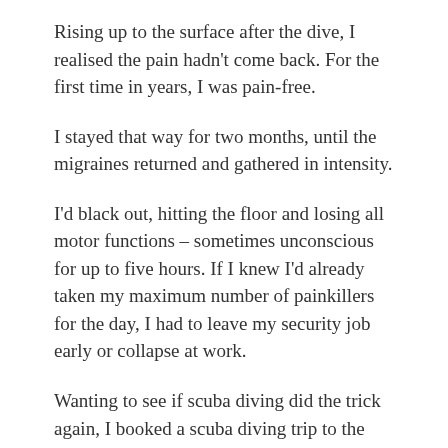Rising up to the surface after the dive, I realised the pain hadn't come back. For the first time in years, I was pain-free.
I stayed that way for two months, until the migraines returned and gathered in intensity.
I'd black out, hitting the floor and losing all motor functions – sometimes unconscious for up to five hours. If I knew I'd already taken my maximum number of painkillers for the day, I had to leave my security job early or collapse at work.
Wanting to see if scuba diving did the trick again, I booked a scuba diving trip to the